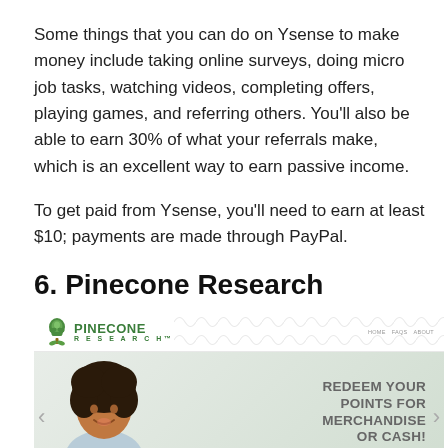Some things that you can do on Ysense to make money include taking online surveys, doing micro job tasks, watching videos, completing offers, playing games, and referring others. You'll also be able to earn 30% of what your referrals make, which is an excellent way to earn passive income.
To get paid from Ysense, you'll need to earn at least $10; payments are made through PayPal.
6. Pinecone Research
[Figure (screenshot): Screenshot of the Pinecone Research website showing the logo at top with a green pinecone icon and the text PINECONE RESEARCH, navigation links (HOME, FAQS, ABOUT) at top right, and a banner with a smiling woman with curly hair on the left side, and text on the right reading 'REDEEM YOUR POINTS FOR MERCHANDISE OR CASH!' with a green underline, set against a light gray-green background. Navigation arrows appear on both sides of the banner.]